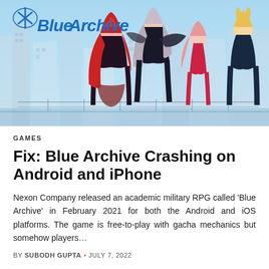[Figure (illustration): Blue Archive game promotional image showing anime-style characters (schoolgirls in military-themed outfits) standing in a futuristic city setting. The Blue Archive logo is visible in the top-left corner in blue italic text with a star/cross symbol.]
GAMES
Fix: Blue Archive Crashing on Android and iPhone
Nexon Company released an academic military RPG called 'Blue Archive' in February 2021 for both the Android and iOS platforms. The game is free-to-play with gacha mechanics but somehow players…
BY SUBODH GUPTA • JULY 7, 2022